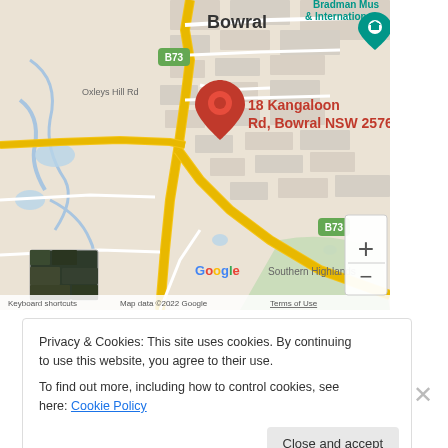[Figure (map): Google Maps screenshot showing Bowral, NSW area with a red location pin at '18 Kangaloon Rd, Bowral NSW 2576'. Bradman Museum & International visible in top right. Oxleys Hill Rd label on left. B73 route markers visible. Satellite thumbnail in bottom left. Google logo and map attribution at bottom. Zoom controls (+/-) in bottom right of map.]
Privacy & Cookies: This site uses cookies. By continuing to use this website, you agree to their use.
To find out more, including how to control cookies, see here: Cookie Policy